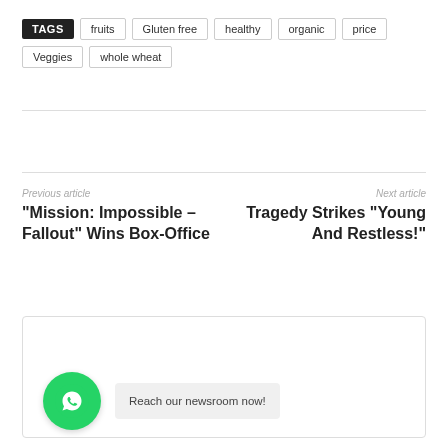TAGS  fruits  Gluten free  healthy  organic  price  Veggies  whole wheat
Previous article
“Mission: Impossible – Fallout” Wins Box-Office
Next article
Tragedy Strikes “Young And Restless!”
Reach our newsroom now!
Staff